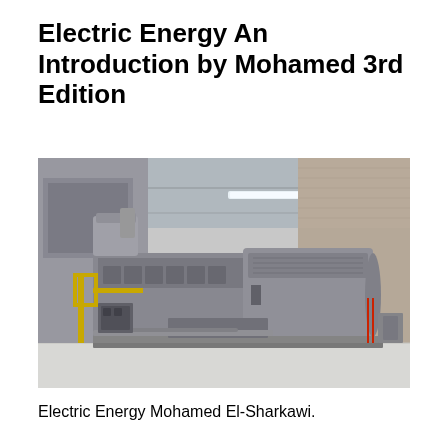Electric Energy An Introduction by Mohamed 3rd Edition
[Figure (photo): Industrial electric generator set inside a large facility building. The image shows a large diesel or gas engine coupled to an electric generator mounted on a base frame. The machinery is grey/silver metallic with yellow piping visible on the left side. The building interior has brick walls and fluorescent lighting on the ceiling.]
Electric Energy Mohamed El-Sharkawi.